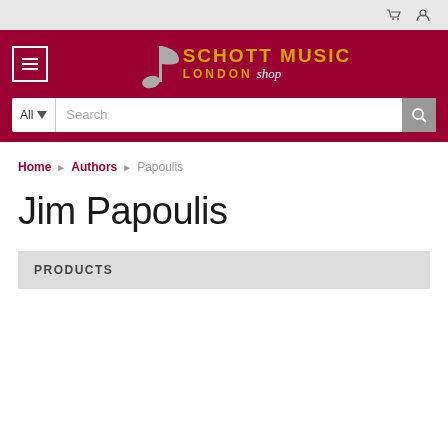Schott Music London shop – cart and account icons
[Figure (logo): Schott Music London shop logo with musical note graphic on dark red background, menu button, and search bar]
Home ▶ Authors ▶ Papoulis
Jim Papoulis
PRODUCTS